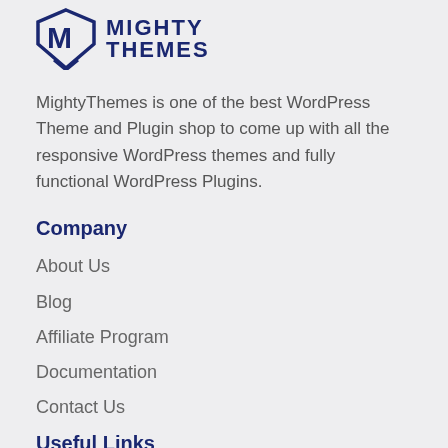[Figure (logo): Mighty Themes logo with stylized M shield icon and MIGHTY THEMES text]
MightyThemes is one of the best WordPress Theme and Plugin shop to come up with all the responsive WordPress themes and fully functional WordPress Plugins.
Company
About Us
Blog
Affiliate Program
Documentation
Contact Us
Useful Links